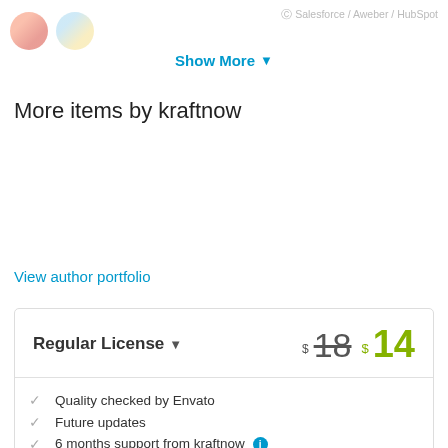[Figure (logo): Two circular logo icons partially visible at the top]
Salesforce / Aweber / HubSpot
Show More ▾
More items by kraftnow
View author portfolio
Regular License ▾  $-18  $14
Quality checked by Envato
Future updates
6 months support from kraftnow ℹ